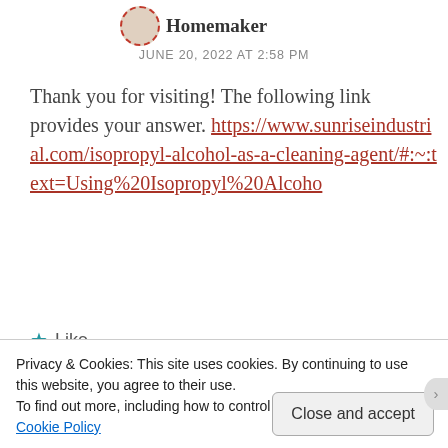Homemaker
JUNE 20, 2022 AT 2:58 PM
Thank you for visiting! The following link provides your answer. https://www.sunriseindustrial.com/isopropyl-alcohol-as-a-cleaning-agent/#:~:text=Using%20Isopropyl%20Alcohol
★ Like
Reply
Privacy & Cookies: This site uses cookies. By continuing to use this website, you agree to their use.
To find out more, including how to control cookies, see here:
Cookie Policy
Close and accept